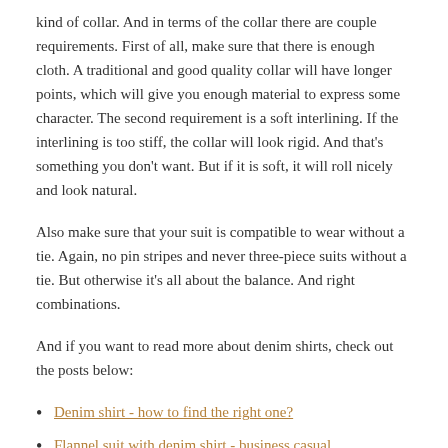kind of collar. And in terms of the collar there are couple requirements. First of all, make sure that there is enough cloth. A traditional and good quality collar will have longer points, which will give you enough material to express some character. The second requirement is a soft interlining. If the interlining is too stiff, the collar will look rigid. And that's something you don't want. But if it is soft, it will roll nicely and look natural.
Also make sure that your suit is compatible to wear without a tie. Again, no pin stripes and never three-piece suits without a tie. But otherwise it's all about the balance. And right combinations.
And if you want to read more about denim shirts, check out the posts below:
Denim shirt - how to find the right one?
Flannel suit with denim shirt - business casual
Cotton suit with denim shirt